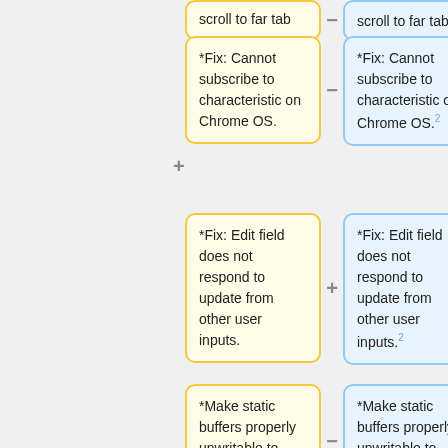scroll to far tab
scroll to far tab.²
*Fix: Cannot subscribe to characteristic on Chrome OS.
*Fix: Cannot subscribe to characteristic on Chrome OS.²
*Fix: Edit field does not respond to update from other user inputs.
*Fix: Edit field does not respond to update from other user inputs.²
*Make static buffers properly unwritable to prevent unexpected behavior by writing from modules with mixed outputs and to allow initializing them
*Make static buffers properly unwritable to prevent unexpected behavior by writing from modules with mixed outputs and to allow initializing them